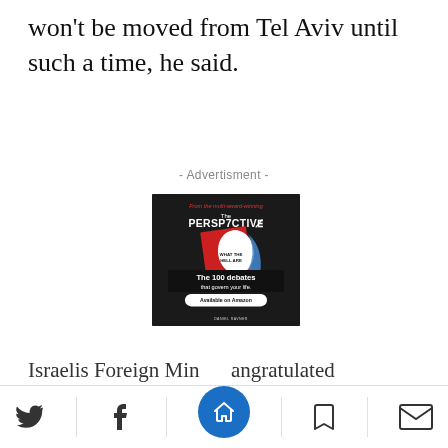won't be moved from Tel Aviv until such a time, he said.
- Advertisment -
[Figure (illustration): Advertisement for 'The Perspective' book by Daniel Ravner. Dark background with book cover showing red, white and blue design with text 'WHAT THE HELL ARE' visible. Text overlay reads 'From the multi-award-winning', 'The PERSPECTIVE', 'The 100 debates that govern your life.' with a white rounded button 'Available on Amazon'.]
Israelis Foreign Min                  angratulated
Twitter | Facebook | Home | Bookmark | Email